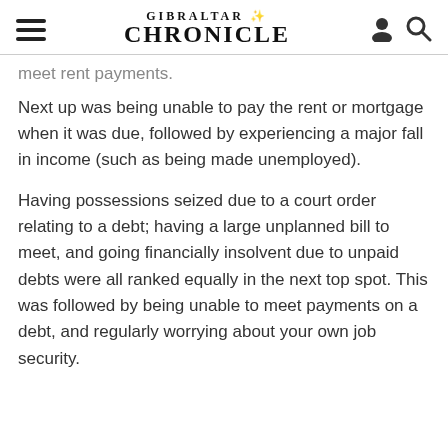GIBRALTAR CHRONICLE
meet rent payments.
Next up was being unable to pay the rent or mortgage when it was due, followed by experiencing a major fall in income (such as being made unemployed).
Having possessions seized due to a court order relating to a debt; having a large unplanned bill to meet, and going financially insolvent due to unpaid debts were all ranked equally in the next top spot. This was followed by being unable to meet payments on a debt, and regularly worrying about your own job security.